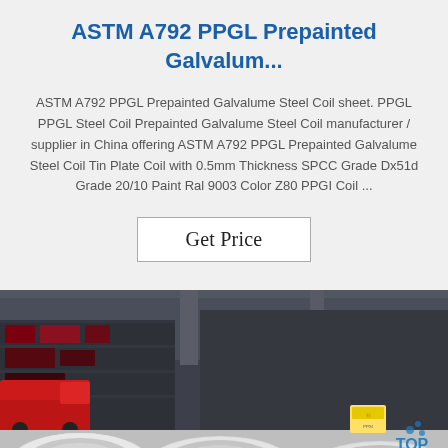ASTM A792 PPGL Prepainted Galvalum...
ASTM A792 PPGL Prepainted Galvalume Steel Coil sheet. PPGL PPGL Steel Coil Prepainted Galvalume Steel Coil manufacturer / supplier in China offering ASTM A792 PPGL Prepainted Galvalume Steel Coil Tin Plate Coil with 0.5mm Thickness SPCC Grade Dx51d Grade 20/10 Paint Ral 9003 Color Z80 PPGI Coil ...
Get Price
[Figure (photo): Photo of large steel coils stored in a warehouse/industrial setting. Multiple white/silver steel coils are visible in the foreground, with a warehouse interior including shelving and vehicles visible in the background. A 'TOP' watermark logo appears in the lower right corner.]